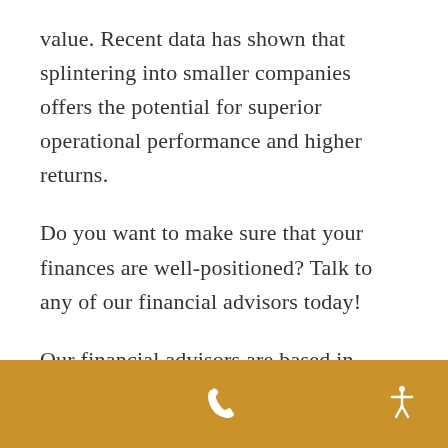value. Recent data has shown that splintering into smaller companies offers the potential for superior operational performance and higher returns.
Do you want to make sure that your finances are well-positioned? Talk to any of our financial advisors today!
Our financial advisors are based in Columbia, SC. Find out more information here.
[phone icon] [accessibility icon]